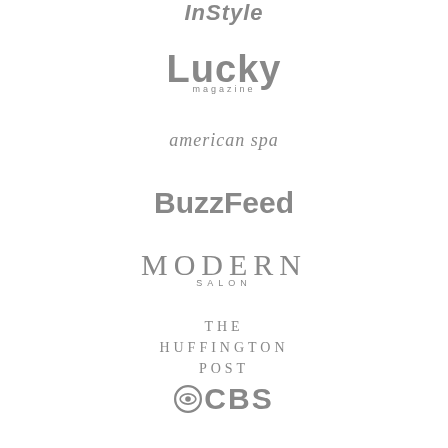[Figure (logo): InStyle magazine logo in gray italic bold text]
[Figure (logo): Lucky magazine logo in gray bold text with 'magazine' subtitle]
[Figure (logo): american spa logo in gray italic serif text]
[Figure (logo): BuzzFeed logo in gray bold sans-serif text]
[Figure (logo): Modern Salon logo in gray serif spaced capitals with 'SALON' subtitle]
[Figure (logo): The Huffington Post logo in gray spaced serif capitals on three lines]
[Figure (logo): CBS logo with eye icon in gray bold text]